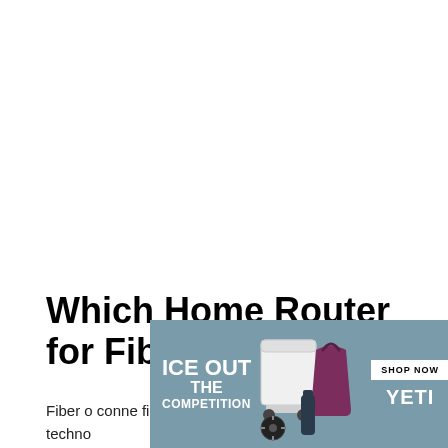Which Home Router for Fiber Internet?
[Figure (illustration): YETI advertisement banner: 'ICE OUT THE COMPETITION' with cooler, tote bag, bottle, and fan products. Includes 'SHOP NOW' button and YETI logo on teal/slate background.]
Fiber o... conne... fiber techno...